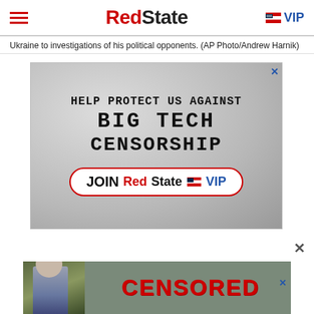RedState VIP
Ukraine to investigations of his political opponents. (AP Photo/Andrew Harnik)
[Figure (infographic): RedState VIP advertisement: HELP PROTECT US AGAINST BIG TECH CENSORSHIP — JOIN RedState VIP button]
[Figure (infographic): Bottom banner ad with man's photo and CENSORED text overlay]